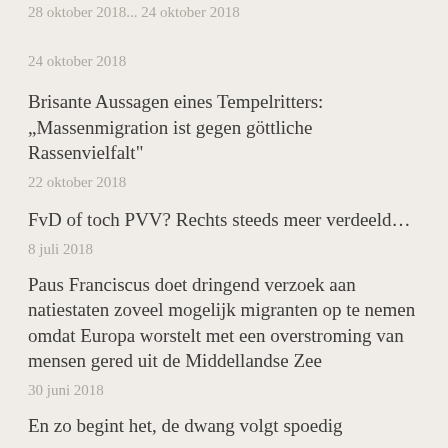24 oktober 2018
Brisante Aussagen eines Tempelritters: „Massenmigration ist gegen göttliche Rassenvielfalt“
22 oktober 2018
FvD of toch PVV? Rechts steeds meer verdeeld…
8 juli 2018
Paus Franciscus doet dringend verzoek aan natiestaten zoveel mogelijk migranten op te nemen omdat Europa worstelt met een overstroming van mensen gered uit de Middellandse Zee
30 juni 2018
En zo begint het, de dwang volgt spoedig
28 juni 2018
Uw serum tegen het indoctrinatiegif van